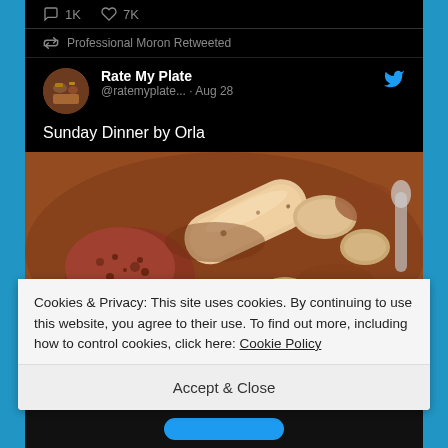[Figure (screenshot): Twitter/X app screenshot showing a tweet from Rate My Plate (@ratemyplate...) retweeted by Professional Moron, dated Aug 28, with text 'Sunday Dinner by Orla' and a food photo showing sausages, mince and potatoes in gravy. The tweet shows 1K comments and 7K likes engagement icons.]
Cookies & Privacy: This site uses cookies. By continuing to use this website, you agree to their use. To find out more, including how to control cookies, click here: Cookie Policy
Accept & Close